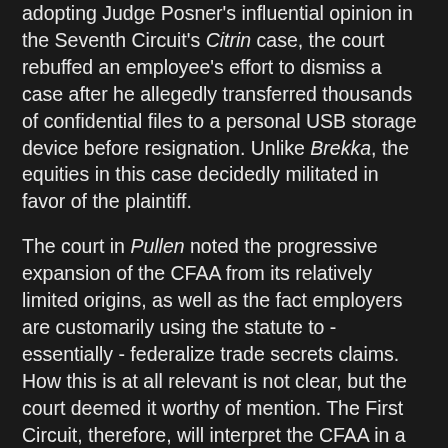adopting Judge Posner's influential opinion in the Seventh Circuit's Citrin case, the court rebuffed an employee's effort to dismiss a case after he allegedly transferred thousands of confidential files to a personal USB storage device before resignation. Unlike Brekka, the equities in this case decidedly militated in favor of the plaintiff.
The court in Pullen noted the progressive expansion of the CFAA from its relatively limited origins, as well as the fact employers are customarily using the statute to - essentially - federalize trade secrets claims. How this is at all relevant is not clear, but the court deemed it worthy of mention. The First Circuit, therefore, will interpret the CFAA in a broad fashion, analogous to how the Seventh Circuit does in the aftermath of Citrin.
Having considered the divergent views of federal courts, one issue is perfectly clear. Employers have to be out in front of this issue to eliminate difficult questions of statutory construction. Specifically, employers can be more diligent about protecting digitally stored information by formulating clear computer usage policies concerning use of company computers and employees' personal devices.